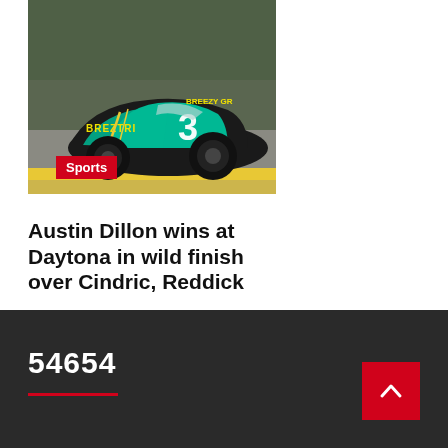[Figure (photo): NASCAR race car number 3 with green and black Breeztri livery on a race track]
Sports
Austin Dillon wins at Daytona in wild finish over Cindric, Reddick
12 mins ago
54654
[Figure (other): Back to top arrow button (red square with white chevron up)]